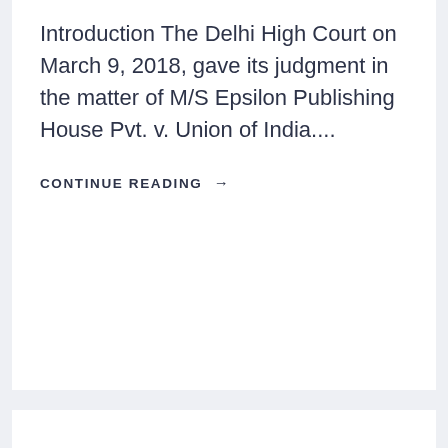Introduction The Delhi High Court on March 9, 2018, gave its judgment in the matter of M/S Epsilon Publishing House Pvt. v. Union of India....
CONTINUE READING →